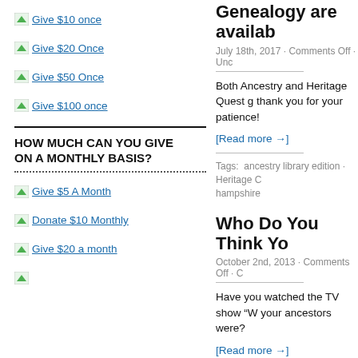Give $10 once
Give $20 Once
Give $50 Once
Give $100 once
HOW MUCH CAN YOU GIVE ON A MONTHLY BASIS?
Give $5 A Month
Donate $10 Monthly
Give $20 a month
Genealogy are availab
July 18th, 2017 · Comments Off · Unc
Both Ancestry and Heritage Quest g thank you for your patience!
[Read more →]
Tags:  ancestry library edition · Heritage C hampshire
Who Do You Think Yo
October 2nd, 2013 · Comments Off · C
Have you watched the TV show "W your ancestors were?
[Read more →]